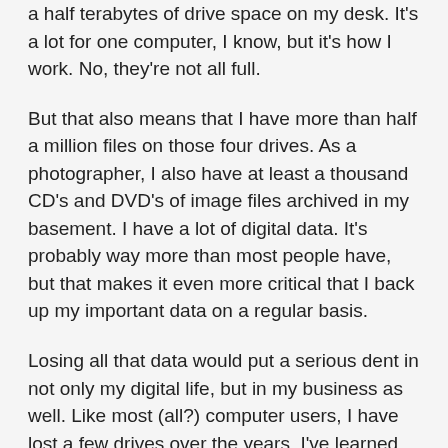a half terabytes of drive space on my desk. It's a lot for one computer, I know, but it's how I work. No, they're not all full.
But that also means that I have more than half a million files on those four drives. As a photographer, I also have at least a thousand CD's and DVD's of image files archived in my basement. I have a lot of digital data. It's probably way more than most people have, but that makes it even more critical that I back up my important data on a regular basis.
Losing all that data would put a serious dent in not only my digital life, but in my business as well. Like most (all?) computer users, I have lost a few drives over the years. I've learned that hard drives crash. And when they do it will be at the most inconvenient time possible.